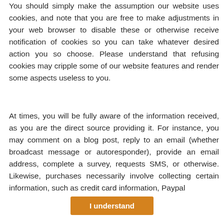You should simply make the assumption our website uses cookies, and note that you are free to make adjustments in your web browser to disable these or otherwise receive notification of cookies so you can take whatever desired action you so choose. Please understand that refusing cookies may cripple some of our website features and render some aspects useless to you.
At times, you will be fully aware of the information received, as you are the direct source providing it. For instance, you may comment on a blog post, reply to an email (whether broadcast message or autoresponder), provide an email address, complete a survey, requests SMS, or otherwise. Likewise, purchases necessarily involve collecting certain information, such as credit card information, Paypal
I understand